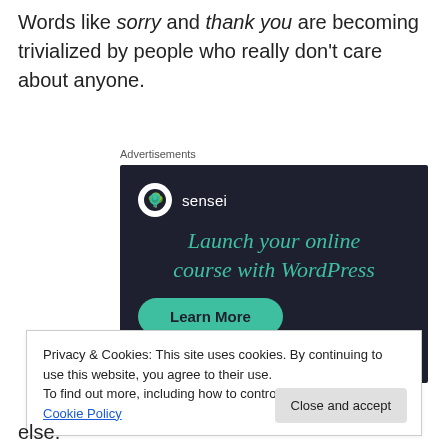Words like sorry and thank you are becoming trivialized by people who really don't care about anyone.
Advertisements
[Figure (illustration): Sensei advertisement: dark background with sensei logo (tree in circle), teal headline 'Launch your online course with WordPress', and a teal 'Learn More' button.]
Privacy & Cookies: This site uses cookies. By continuing to use this website, you agree to their use.
To find out more, including how to control cookies, see here: Cookie Policy
else.